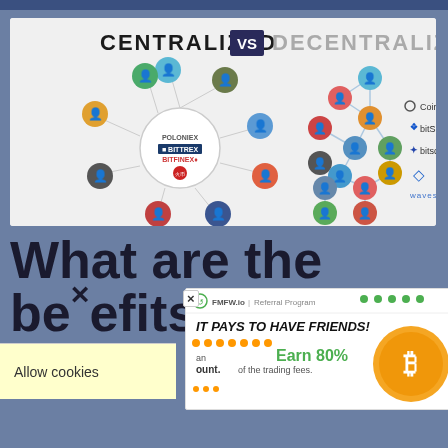[Figure (infographic): Infographic comparing Centralized vs Decentralized exchanges. Left side shows a hub-and-spoke network with Poloniex, Bittrex, Bitfinex, Huobi logos at center. Right side shows a distributed peer-to-peer network with logos for Coinffeine, bitShares, bitsquare, and Waves.]
What are the benefits of ce...
[Figure (infographic): Advertisement banner for FMFW.io Referral Program: IT PAYS TO HAVE FRIENDS! Earn 80% of the trading fees. Shows Bitcoin coin graphic.]
Allow cookies